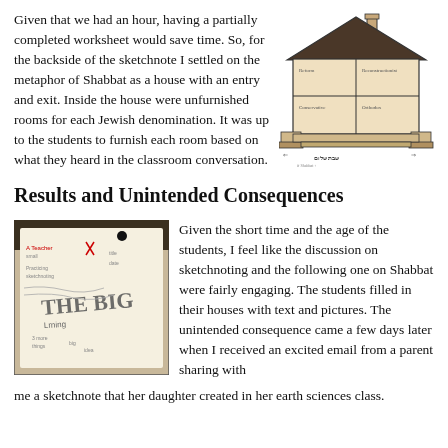Given that we had an hour, having a partially completed worksheet would save time. So, for the backside of the sketchnote I settled on the metaphor of Shabbat as a house with an entry and exit. Inside the house were unfurnished rooms for each Jewish denomination. It was up to the students to furnish each room based on what they heard in the classroom conversation.
[Figure (illustration): Hand-drawn illustration of a house cross-section showing rooms labeled for different Jewish denominations, with entry and exit areas.]
Results and Unintended Consequences
[Figure (photo): Photo of a student sketchnote with handwritten text and drawings, showing 'THE BIG' in large letters with surrounding notes and sketches.]
Given the short time and the age of the students, I feel like the discussion on sketchnoting and the following one on Shabbat were fairly engaging. The students filled in their houses with text and pictures. The unintended consequence came a few days later when I received an excited email from a parent sharing with me a sketchnote that her daughter created in her earth sciences class.